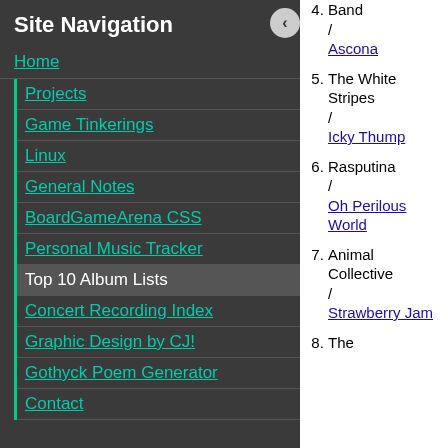Site Navigation
Home
Projects
Game Tinkerings
Linux
General Notes
BoardGameArena CSS
Personal Music Tracker
Top 10 Album Lists
Concert Recording Index
Graphic Design by CJ!
Gothyck Poem Generator
Contact
Band / Ascona
5. The White Stripes / Icky Thump
6. Rasputina / Oh Perilous World
7. Animal Collective / Strawberry Jam
8. The
> Home > Top 10 Album Lists